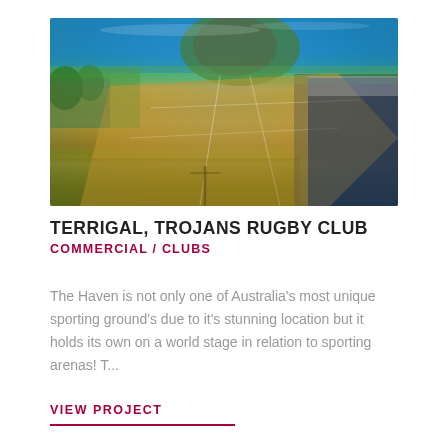[Figure (photo): Aerial photograph of Terrigal Haven rugby field with ocean and headland in background, crowd on right side, taken from elevated angle on a sunny day.]
TERRIGAL, TROJANS RUGBY CLUB
COMMERCIAL / CLUBS
The Haven is not only one of Australia's most unique sporting ground's due to it's stunning location but it holds its own on a world stage in relation to sporting arenas! T...
VIEW PROJECT